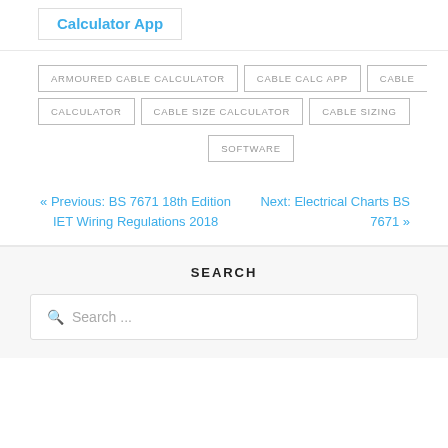Calculator App
ARMOURED CABLE CALCULATOR
CABLE CALC APP
CABLE
CALCULATOR
CABLE SIZE CALCULATOR
CABLE SIZING
SOFTWARE
« Previous: BS 7671 18th Edition IET Wiring Regulations 2018
Next: Electrical Charts BS 7671 »
SEARCH
Search ...